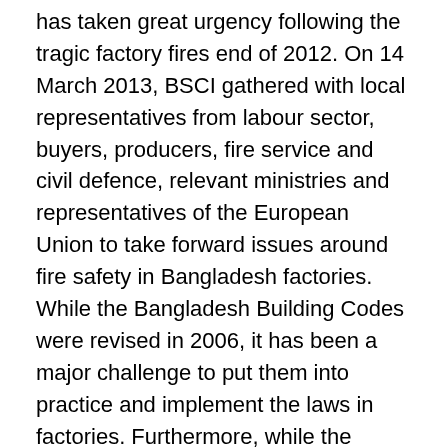has taken great urgency following the tragic factory fires end of 2012. On 14 March 2013, BSCI gathered with local representatives from labour sector, buyers, producers, fire service and civil defence, relevant ministries and representatives of the European Union to take forward issues around fire safety in Bangladesh factories. While the Bangladesh Building Codes were revised in 2006, it has been a major challenge to put them into practice and implement the laws in factories. Furthermore, while the number of fires in Bangladesh garment sector has decreased in recent years, according to Ali Ahmed Khan, Director General of Fire Service and Civil Defence, there continues to be a lack of understanding on effective fire fighting methods and insufficient awareness programmes among workers. During the Round Table meeting the President of Bangladesh Apparels Workers Federation, Towhidur Rahman, stressed the role played by the government to implement fire safety measures. The Ministry of Labour's Joint Secretary Faizur Rahman said a draft of the policy and work plan to ensure fire